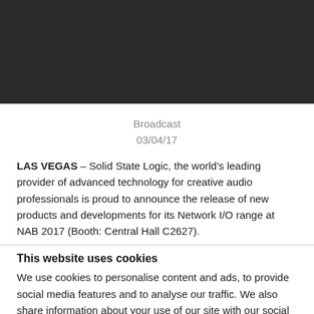[Figure (photo): Dark/black header banner image at the top of the page]
Broadcast
03/04/17
LAS VEGAS – Solid State Logic, the world's leading provider of advanced technology for creative audio professionals is proud to announce the release of new products and developments for its Network I/O range at NAB 2017 (Booth: Central Hall C2627).
This website uses cookies
We use cookies to personalise content and ads, to provide social media features and to analyse our traffic. We also share information about your use of our site with our social